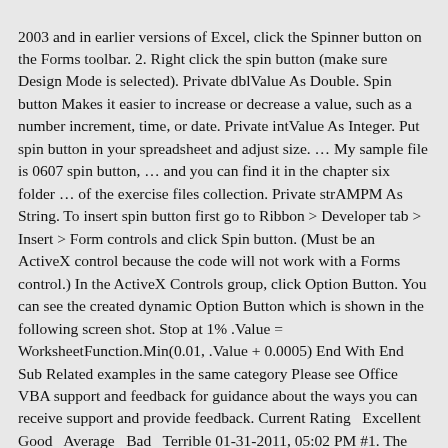2003 and in earlier versions of Excel, click the Spinner button on the Forms toolbar. 2. Right click the spin button (make sure Design Mode is selected). Private dblValue As Double. Spin button Makes it easier to increase or decrease a value, such as a number increment, time, or date. Private intValue As Integer. Put spin button in your spreadsheet and adjust size. … My sample file is 0607 spin button, … and you can find it in the chapter six folder … of the exercise files collection. Private strAMPM As String. To insert spin button first go to Ribbon > Developer tab > Insert > Form controls and click Spin button. (Must be an ActiveX control because the code will not work with a Forms control.) In the ActiveX Controls group, click Option Button. You can see the created dynamic Option Button which is shown in the following screen shot. Stop at 1% .Value = WorksheetFunction.Min(0.01, .Value + 0.0005) End With End Sub Related examples in the same category Please see Office VBA support and feedback for guidance about the ways you can receive support and provide feedback. Current Rating  Excellent  Good  Average  Bad  Terrible 01-31-2011, 05:02 PM #1. The following code goes in ThisWorkbook module. If so, the SpinButton's Value property is set to the value entered in the TextBox. 2. 0. You can ask a user to enter a value directly in a text box but you can make things a little more attaractive by using a text box and a spin button. In the toolbox the